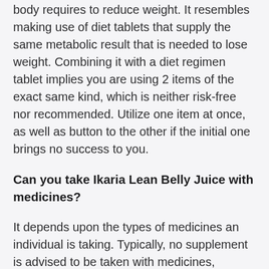body requires to reduce weight. It resembles making use of diet tablets that supply the same metabolic result that is needed to lose weight. Combining it with a diet regimen tablet implies you are using 2 items of the exact same kind, which is neither risk-free nor recommended. Utilize one item at once, as well as button to the other if the initial one brings no success to you.
Can you take Ikaria Lean Belly Juice with medicines?
It depends upon the types of medicines an individual is taking. Typically, no supplement is advised to be taken with medicines, especially prescription medicines, but also for generic medicines, supplements and also medicines can